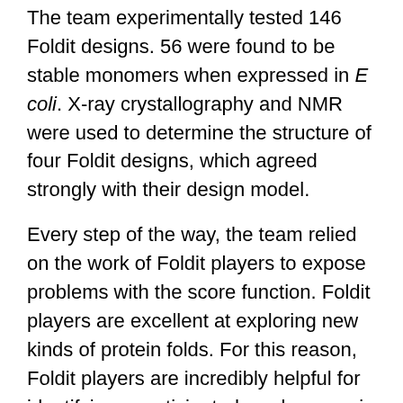The team experimentally tested 146 Foldit designs. 56 were found to be stable monomers when expressed in E coli. X-ray crystallography and NMR were used to determine the structure of four Foldit designs, which agreed strongly with their design model.
Every step of the way, the team relied on the work of Foldit players to expose problems with the score function. Foldit players are excellent at exploring new kinds of protein folds. For this reason, Foldit players are incredibly helpful for identifying unanticipated weaknesses in Rosetta, and ultimately can improve our understanding of protein folding.
Now that Foldit players can accurately design high-quality proteins from scratch, we can start to challenge Foldit players with more applied protein design problems. Foldit players can help to...